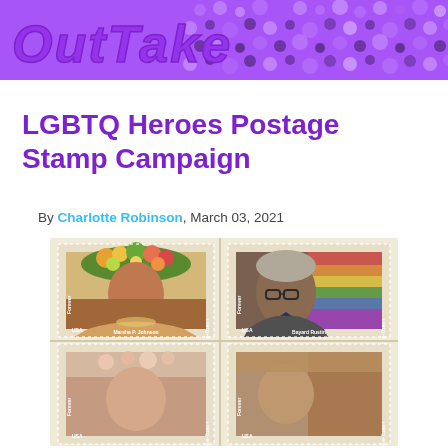[Figure (logo): OutTake magazine logo in stylized purple italic text on a purple sparkly/sequin background banner]
LGBTQ Heroes Postage Stamp Campaign
By Charlotte Robinson, March 03, 2021
[Figure (photo): Four postage stamps arranged in a 2x2 grid on a tan/cream background. Top-left: Marsha P. Johnson wearing floral headpiece, labeled 'LGBTQ Hero of America'. Top-right: Bayard Rustin wearing glasses, labeled 'LGBTQ Hero of America'. Bottom-left and bottom-right stamps are partially visible showing two more LGBTQ heroes. All stamps read 'USA | Forever' on the side.]